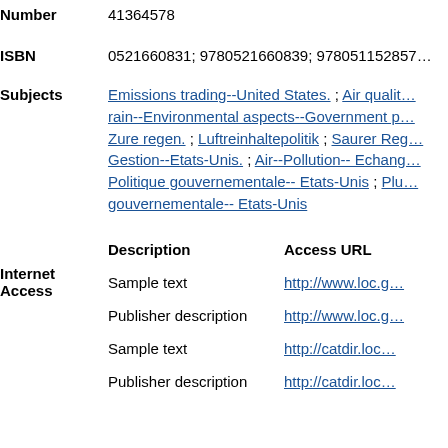| Number | 41364578 |
| ISBN | 0521660831; 9780521660839; 9780511528576 |
| Subjects | Emissions trading--United States. ; Air quality-- ; rain--Environmental aspects--Government p... ; Zure regen. ; Luftreinhaltepolitik ; Saurer Reg... ; Gestion--Etats-Unis. ; Air--Pollution-- Echang... ; Politique gouvernementale-- Etats-Unis ; Plu... ; gouvernementale-- Etats-Unis |
| Internet Access | Description | Access URL
Sample text | http://www.loc.g...
Publisher description | http://www.loc.g...
Sample text | http://catdir.loc....
Publisher description | http://catdir.loc.... |